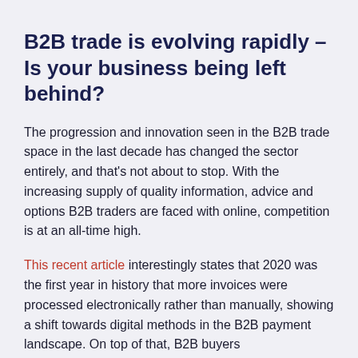B2B trade is evolving rapidly – Is your business being left behind?
The progression and innovation seen in the B2B trade space in the last decade has changed the sector entirely, and that's not about to stop. With the increasing supply of quality information, advice and options B2B traders are faced with online, competition is at an all-time high.
This recent article interestingly states that 2020 was the first year in history that more invoices were processed electronically rather than manually, showing a shift towards digital methods in the B2B payment landscape. On top of that, B2B buyers